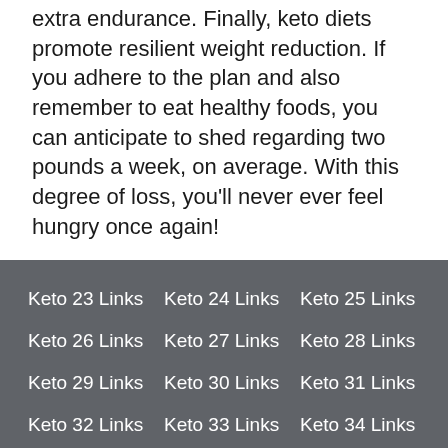extra endurance. Finally, keto diets promote resilient weight reduction. If you adhere to the plan and also remember to eat healthy foods, you can anticipate to shed regarding two pounds a week, on average. With this degree of loss, you'll never ever feel hungry once again!
Keto 23 Links
Keto 24 Links
Keto 25 Links
Keto 26 Links
Keto 27 Links
Keto 28 Links
Keto 29 Links
Keto 30 Links
Keto 31 Links
Keto 32 Links
Keto 33 Links
Keto 34 Links
Keto 35 Links
Keto 36 Links
Keto 37 Links
Keto 38 Links
Keto 39 Links
Keto 40 Links
Keto 41 Links
Keto 42 Links
Keto 43 Links